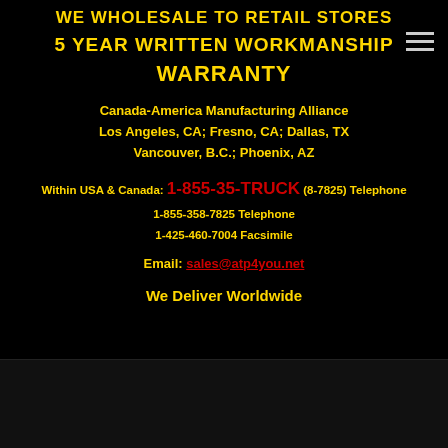WE WHOLESALE TO RETAIL STORES
5 YEAR WRITTEN WORKMANSHIP WARRANTY
Canada-America Manufacturing Alliance
Los Angeles, CA; Fresno, CA; Dallas, TX
Vancouver, B.C.; Phoenix, AZ
Within USA & Canada: 1-855-35-TRUCK (8-7825) Telephone
1-855-358-7825 Telephone
1-425-460-7004 Facsimile
Email: sales@atp4you.net
We Deliver Worldwide